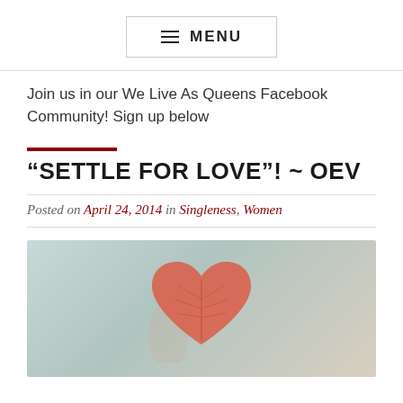≡ MENU
Join us in our We Live As Queens Facebook Community! Sign up below
“SETTLE FOR LOVE”! ~ OEV
Posted on April 24, 2014 in Singleness, Women
[Figure (photo): Person holding a red heart-shaped leaf against a light blue background]